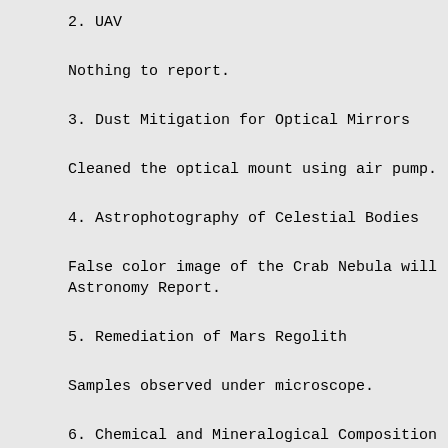2. UAV
Nothing to report.
3. Dust Mitigation for Optical Mirrors
Cleaned the optical mount using air pump.
4. Astrophotography of Celestial Bodies
False color image of the Crab Nebula will Astronomy Report.
5. Remediation of Mars Regolith
Samples observed under microscope.
6. Chemical and Mineralogical Composition